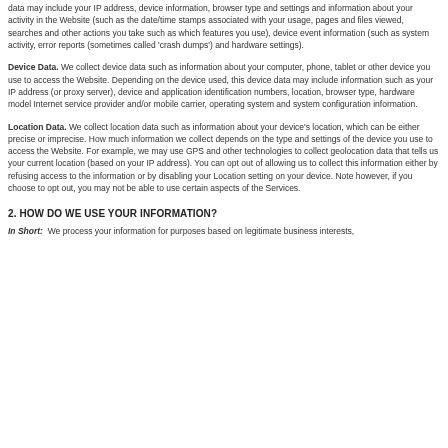data may include your IP address, device information, browser type and settings and information about your activity in the Website (such as the date/time stamps associated with your usage, pages and files viewed, searches and other actions you take such as which features you use), device event information (such as system activity, error reports (sometimes called 'crash dumps') and hardware settings).
Device Data. We collect device data such as information about your computer, phone, tablet or other device you use to access the Website. Depending on the device used, this device data may include information such as your IP address (or proxy server), device and application identification numbers, location, browser type, hardware model Internet service provider and/or mobile carrier, operating system and system configuration information.
Location Data. We collect location data such as information about your device's location, which can be either precise or imprecise. How much information we collect depends on the type and settings of the device you use to access the Website. For example, we may use GPS and other technologies to collect geolocation data that tells us your current location (based on your IP address). You can opt out of allowing us to collect this information either by refusing access to the information or by disabling your Location setting on your device. Note however, if you choose to opt out, you may not be able to use certain aspects of the Services.
2. HOW DO WE USE YOUR INFORMATION?
In Short: We process your information for purposes based on legitimate business interests,